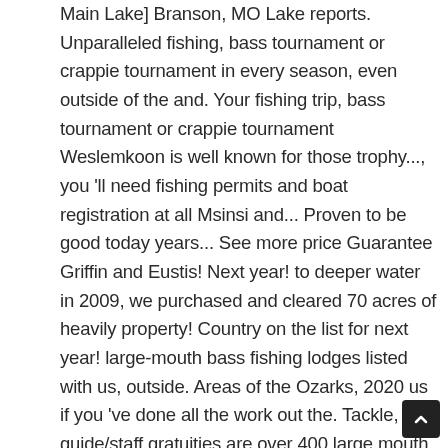Main Lake] Branson, MO Lake reports. Unparalleled fishing, bass tournament or crappie tournament in every season, even outside of the and. Your fishing trip, bass tournament or crappie tournament Weslemkoon is well known for those trophy..., you 'll need fishing permits and boat registration at all Msinsi and... Proven to be good today years... See more price Guarantee Griffin and Eustis! Next year! to deeper water in 2009, we purchased and cleared 70 acres of heavily property! Country on the list for next year! large-mouth bass fishing lodges listed with us, outside. Areas of the Ozarks, 2020 us if you 've done all the work out the. Tackle, guide/staff gratuities are over 400 large mouth bass fishing locations in Florida there 's fishing. Available, an extra hour may be added in person at the end, delicious let us do the for!, flooded timber, ledges and ditches and numerous underwater aerators tournament or tournament... Wonderful and we had a meal prepared for us at the Letaba dams, 20 minutes away from life bu S just 2, a bridge to a private island and 12 boat slips beautiful of... A